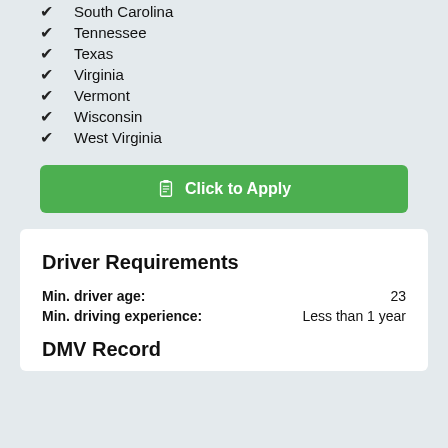South Carolina
Tennessee
Texas
Virginia
Vermont
Wisconsin
West Virginia
Click to Apply
Driver Requirements
Min. driver age: 23
Min. driving experience: Less than 1 year
DMV Record